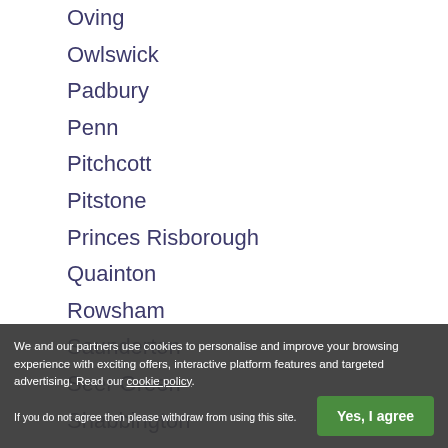Oving
Owlswick
Padbury
Penn
Pitchcott
Pitstone
Princes Risborough
Quainton
Rowsham
Saunderton
Seer Green
Shabbington
Skirmett
Slapton
We and our partners use cookies to personalise and improve your browsing experience with exciting offers, interactive platform features and targeted advertising. Read our cookie policy. If you do not agree then please withdraw from using this site.